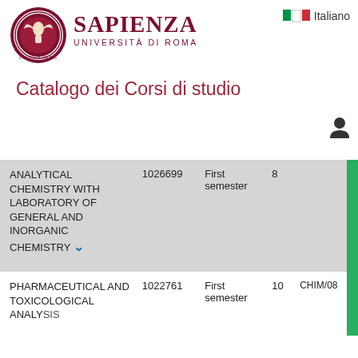[Figure (logo): Sapienza Università di Roma circular seal/logo in dark red]
SAPIENZA UNIVERSITÀ DI ROMA
Catalogo dei Corsi di studio
| Course Name | Code | Semester | Credits | SSD |  |
| --- | --- | --- | --- | --- | --- |
| ANALYTICAL CHEMISTRY WITH LABORATORY OF GENERAL AND INORGANIC CHEMISTRY | 1026699 | First semester | 8 |  |  |
| PHARMACEUTICAL AND TOXICOLOGICAL ANALYSIS | 1022761 | First semester | 10 | CHIM/08 |  |